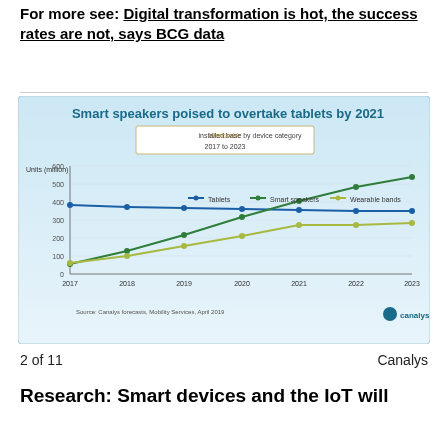For more see: Digital transformation is hot, the success rates are not, says BCG data
[Figure (line-chart): Smart speakers poised to overtake tablets by 2021]
2 of 11   Canalys
Research: Smart devices and the IoT will